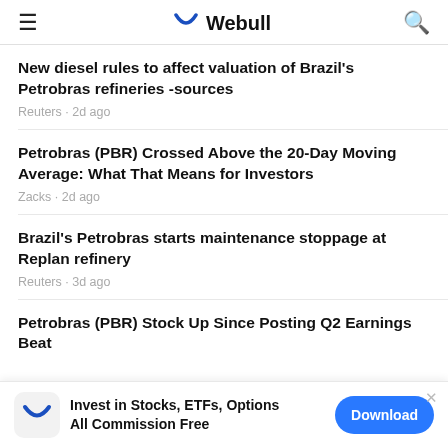Webull
New diesel rules to affect valuation of Brazil's Petrobras refineries -sources
Reuters · 2d ago
Petrobras (PBR) Crossed Above the 20-Day Moving Average: What That Means for Investors
Zacks · 2d ago
Brazil's Petrobras starts maintenance stoppage at Replan refinery
Reuters · 3d ago
Petrobras (PBR) Stock Up Since Posting Q2 Earnings Beat
[Figure (logo): Webull app banner: Invest in Stocks, ETFs, Options All Commission Free with Download button]